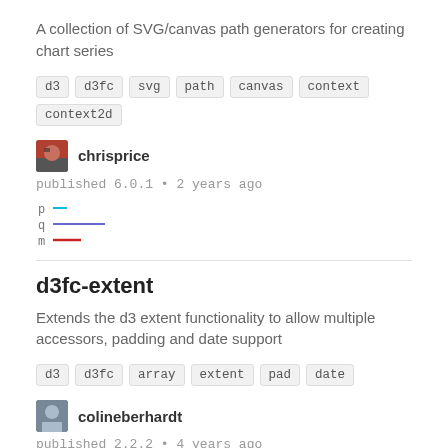A collection of SVG/canvas path generators for creating chart series
d3  d3fc  svg  path  canvas  context  context2d
chrisprice
published 6.0.1 • 2 years ago
[Figure (other): Sparkline chart with three rows labeled p, q, m showing short colored horizontal lines (cyan, purple/blue, red)]
d3fc-extent
Extends the d3 extent functionality to allow multiple accessors, padding and date support
d3  d3fc  array  extent  pad  date
colineberhardt
published 2.2.2 • 4 years ago